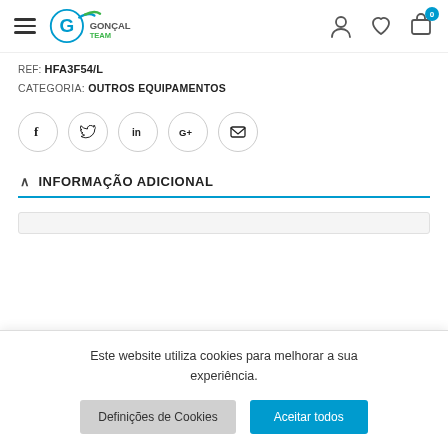GonçalTeam logo and navigation header with hamburger menu and cart/wishlist/account icons
REF: HFA3F54/L
CATEGORIA: OUTROS EQUIPAMENTOS
[Figure (infographic): Social sharing icons row: Facebook, Twitter, LinkedIn, Google+, Email — each in a circular outlined button]
INFORMAÇÃO ADICIONAL
Este website utiliza cookies para melhorar a sua experiência.
Definições de Cookies | Aceitar todos